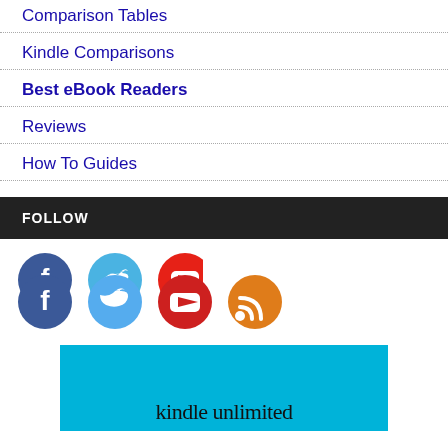Comparison Tables
Kindle Comparisons
Best eBook Readers
Reviews
How To Guides
FOLLOW
[Figure (illustration): Social media icons: Facebook (blue circle with f), Twitter (light blue circle with bird), YouTube (red circle with play button), RSS (orange circle with wifi/rss symbol)]
[Figure (illustration): Kindle Unlimited banner ad - cyan/turquoise background with text 'kindle unlimited' in dark serif font at the bottom]